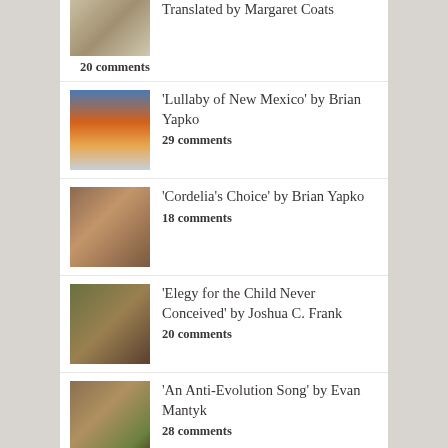Translated by Margaret Coats
20 comments
'Lullaby of New Mexico' by Brian Yapko
29 comments
'Cordelia's Choice' by Brian Yapko
18 comments
'Elegy for the Child Never Conceived' by Joshua C. Frank
20 comments
'An Anti-Evolution Song' by Evan Mantyk
28 comments